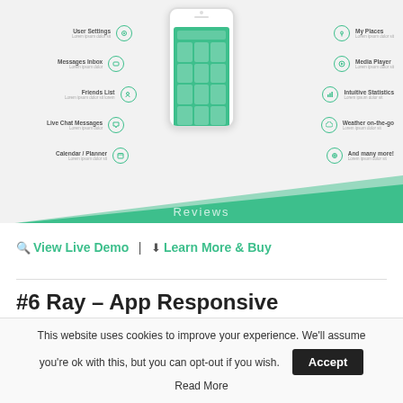[Figure (screenshot): App features mockup showing a smartphone surrounded by feature labels: User Settings, Messages Inbox, Friends List, Live Chat Messages, Calendar / Planner on the left; My Places, Media Player, Intuitive Statistics, Weather on-the-go, And many more! on the right. Below the phone is a green diagonal band with 'Reviews' text.]
Q View Live Demo | ↓ Learn More & Buy
#6  Ray – App Responsive
This website uses cookies to improve your experience. We'll assume you're ok with this, but you can opt-out if you wish.
Accept
Read More